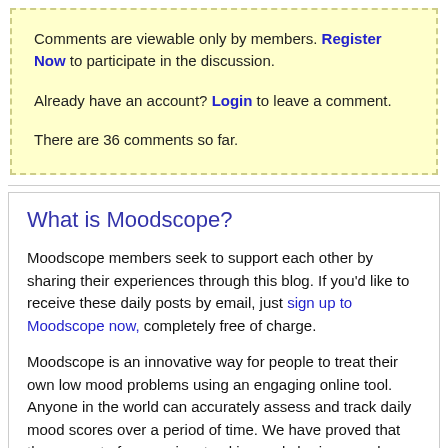Comments are viewable only by members. Register Now to participate in the discussion.

Already have an account? Login to leave a comment.

There are 36 comments so far.
What is Moodscope?
Moodscope members seek to support each other by sharing their experiences through this blog. If you'd like to receive these daily posts by email, just sign up to Moodscope now, completely free of charge.
Moodscope is an innovative way for people to treat their own low mood problems using an engaging online tool. Anyone in the world can accurately assess and track daily mood scores over a period of time. We have proved that the very act of measuring, tracking and sharing mood can actually lift it. Join now.